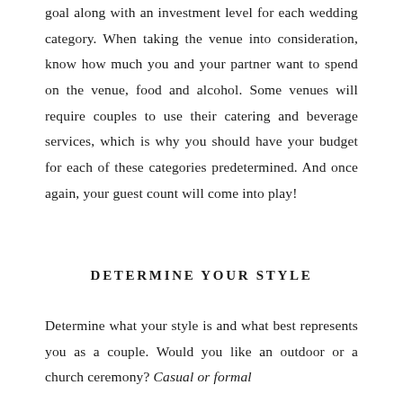goal along with an investment level for each wedding category. When taking the venue into consideration, know how much you and your partner want to spend on the venue, food and alcohol. Some venues will require couples to use their catering and beverage services, which is why you should have your budget for each of these categories predetermined. And once again, your guest count will come into play!
DETERMINE YOUR STYLE
Determine what your style is and what best represents you as a couple. Would you like an outdoor or a church ceremony? Casual or formal